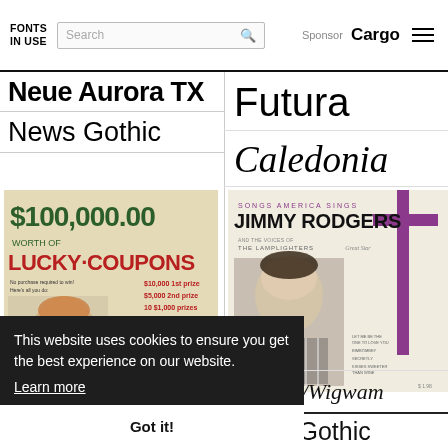FONTS IN USE — Search — Sponsor Cargo
Neue Aurora TX
News Gothic
Futura
Caledonia
[Figure (illustration): $100,000.00 Worth of Lucky Coupons promotional image with green and red text on tan background]
[Figure (photo): Songs America Sings - Jimmy Rodgers album cover with The Lamplighters, featuring portrait photo and starburst design]
Warlord/Wigwam
Akzidenz-Grotesk
News Gothic
This website uses cookies to ensure you get the best experience on our website.
Learn more
Got it!